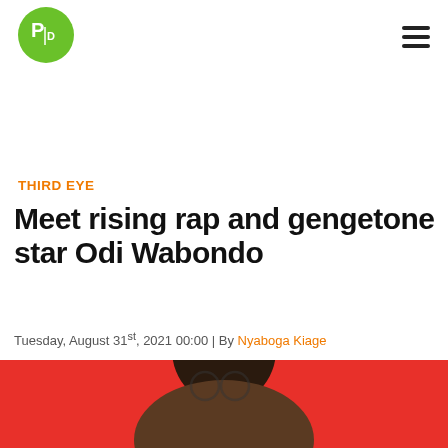PD logo and navigation menu
THIRD EYE
Meet rising rap and gengetone star Odi Wabondo
Tuesday, August 31st, 2021 00:00 | By Nyaboga Kiage
[Figure (photo): Photo of Odi Wabondo against a red background]